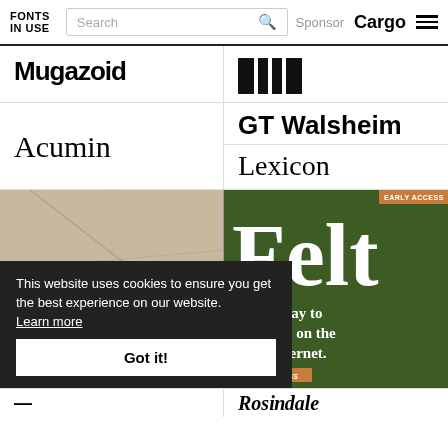FONTS IN USE | Search | Sponsor Cargo
[Figure (logo): Magazoid logo in bold black display typeface]
[Figure (logo): Eit/Elite logo in black block bars]
Acumin
GT Walsheim
Lexicon
[Figure (photo): Close-up photo of newspaper with italic text: the front lines of the war]
[Figure (screenshot): Dark green background with large white serif text: Felt - The best way to make maps on the internet. Orange early access badge and button.]
This website uses cookies to ensure you get the best experience on our website. Learn more
Got it!
Roslindale